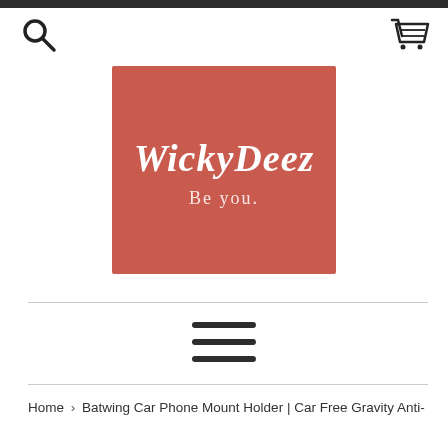[Figure (logo): WickyDeez logo — red/salmon square background with white script text 'WickyDeez' and subtitle 'Be you.']
[Figure (infographic): Hamburger/menu icon with three horizontal dark bars]
Home › Batwing Car Phone Mount Holder | Car Free Gravity Anti-